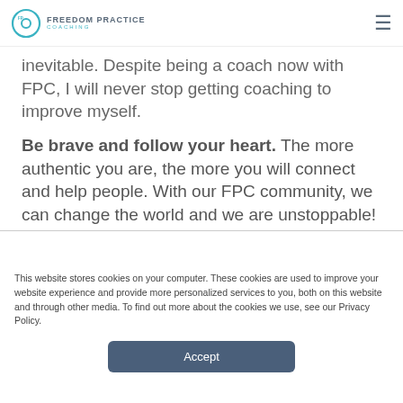Freedom Practice Coaching
inevitable. Despite being a coach now with FPC, I will never stop getting coaching to improve myself.
Be brave and follow your heart. The more authentic you are, the more you will connect and help people. With our FPC community, we can change the world and we are unstoppable!
This website stores cookies on your computer. These cookies are used to improve your website experience and provide more personalized services to you, both on this website and through other media. To find out more about the cookies we use, see our Privacy Policy.